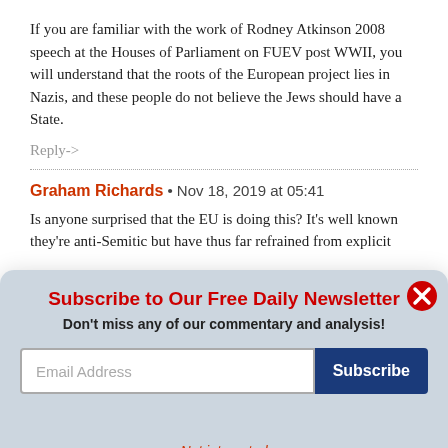If you are familiar with the work of Rodney Atkinson 2008 speech at the Houses of Parliament on FUEV post WWII, you will understand that the roots of the European project lies in Nazis, and these people do not believe the Jews should have a State.
Reply->
Graham Richards • Nov 18, 2019 at 05:41
Is anyone surprised that the EU is doing this? It's well known they're anti-Semitic but have thus far refrained from explicit
Subscribe to Our Free Daily Newsletter
Don't miss any of our commentary and analysis!
Email Address
Subscribe
Not interested